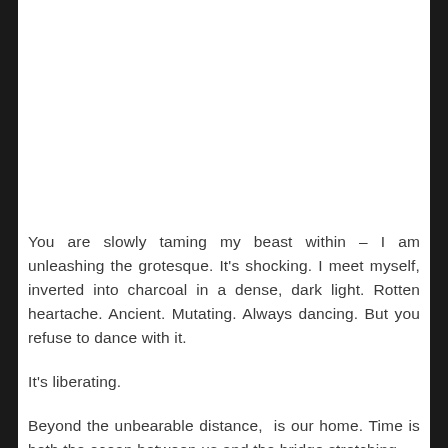You are slowly taming my beast within – I am unleashing the grotesque. It's shocking. I meet myself, inverted into charcoal in a dense, dark light. Rotten heartache. Ancient. Mutating. Always dancing. But you refuse to dance with it.
It's liberating.
Beyond the unbearable distance,  is our home. Time is both the ocean between us and the bridge stretching